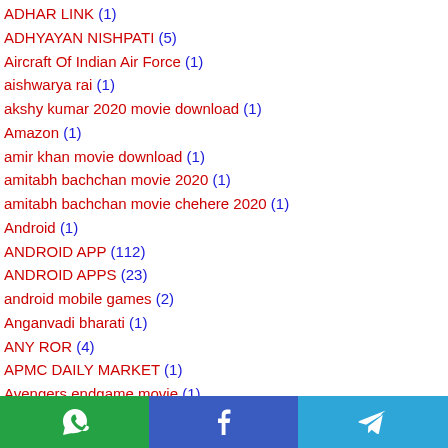ADHAR LINK (1)
ADHYAYAN NISHPATI (5)
Aircraft Of Indian Air Force (1)
aishwarya rai (1)
akshy kumar 2020 movie download (1)
Amazon (1)
amir khan movie download (1)
amitabh bachchan movie 2020 (1)
amitabh bachchan movie chehere 2020 (1)
Android (1)
ANDROID APP (112)
ANDROID APPS (23)
android mobile games (2)
Anganvadi bharati (1)
ANY ROR (4)
APMC DAILY MARKET (1)
Avengers endgame movie (1)
[Figure (infographic): Social share buttons bar: WhatsApp (green), Facebook (blue), Telegram (blue)]